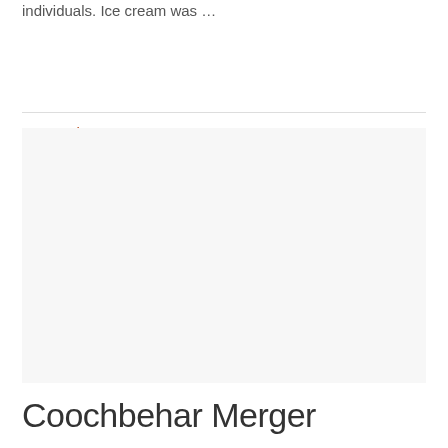individuals. Ice cream was …
Read More »
[Figure (photo): Large light gray rectangular image placeholder area]
Coochbehar Merger